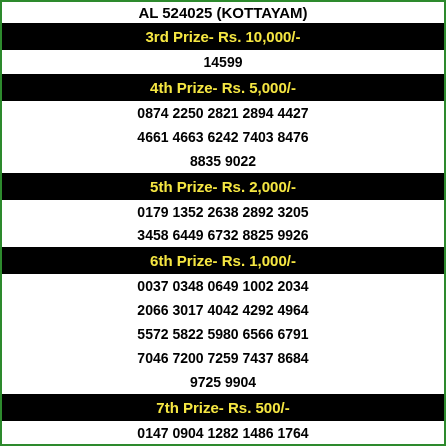AL 524025 (KOTTAYAM)
3rd Prize- Rs. 10,000/-
14599
4th Prize- Rs. 5,000/-
0874 2250 2821 2894 4427
4661 4663 6242 7403 8476
8835 9022
5th Prize- Rs. 2,000/-
0179 1352 2638 2892 3205
3458 6449 6732 8825 9926
6th Prize- Rs. 1,000/-
0037 0348 0649 1002 2034
2066 3017 4042 4292 4964
5572 5822 5980 6566 6791
7046 7200 7259 7437 8684
9725 9904
7th Prize- Rs. 500/-
0147 0904 1282 1486 1764
1897 2287 2524 2808 3137
3641 3688 4248 4572 6041
6057 6068 6605 6851 7013